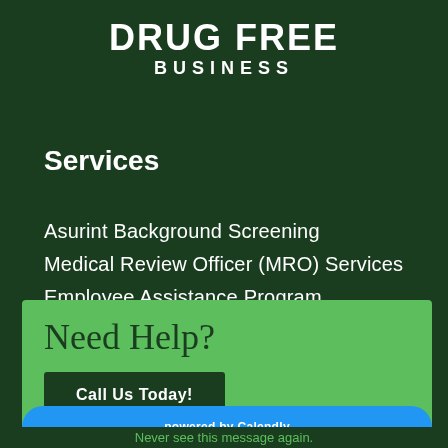DRUG FREE BUSINESS
Services
Asurint Background Screening
Medical Review Officer (MRO) Services
Employee Assistance Program
Substance Abuse Policy Development
Need Help?
Call Us Today!
powered by Calendly
Never see this message again.